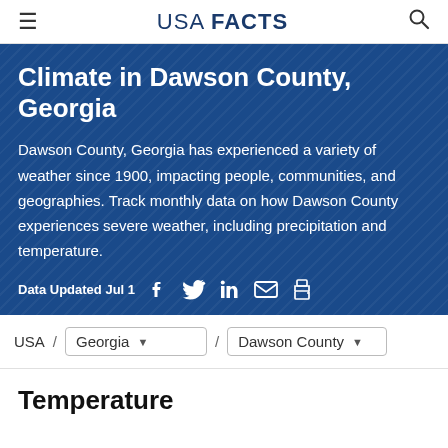USA FACTS
Climate in Dawson County, Georgia
Dawson County, Georgia has experienced a variety of weather since 1900, impacting people, communities, and geographies. Track monthly data on how Dawson County experiences severe weather, including precipitation and temperature.
Data Updated Jul 1
USA / Georgia / Dawson County
Temperature